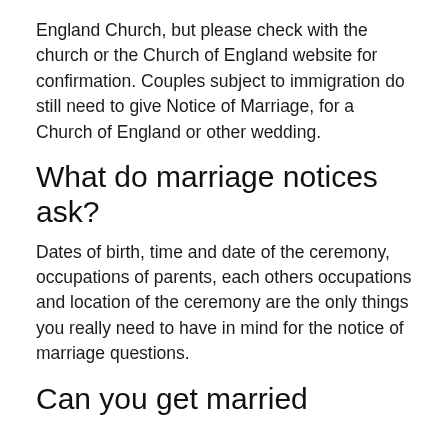England Church, but please check with the church or the Church of England website for confirmation. Couples subject to immigration do still need to give Notice of Marriage, for a Church of England or other wedding.
What do marriage notices ask?
Dates of birth, time and date of the ceremony, occupations of parents, each others occupations and location of the ceremony are the only things you really need to have in mind for the notice of marriage questions.
Can you get married